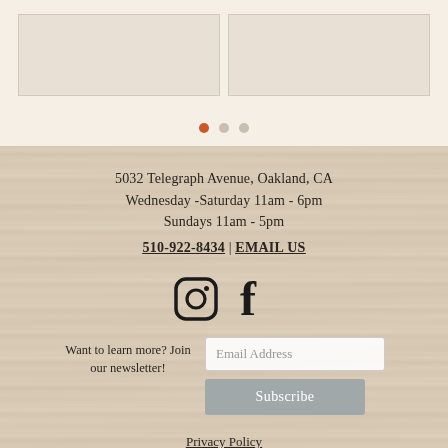[Figure (other): Product cards partially visible at top of page on beige background]
[Figure (other): Carousel navigation dots: one orange dot (active) followed by two gray dots]
5032 Telegraph Avenue, Oakland, CA
Wednesday -Saturday 11am - 6pm
Sundays 11am - 5pm
510-922-8434 | EMAIL US
[Figure (logo): Instagram and Facebook social media icons]
Want to learn more? Join our newsletter!
Email Address
Subscribe
Privacy Policy
Term & Conditions
Shipping & Return Policy
Accessibility Statement